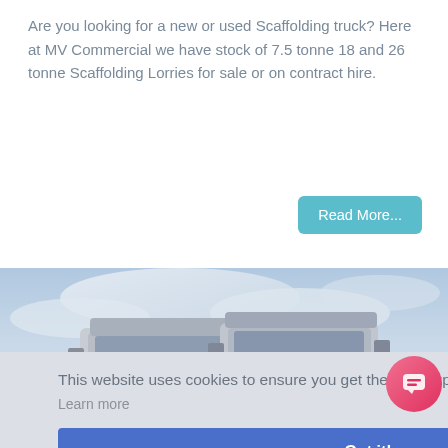Are you looking for a new or used Scaffolding truck? Here at MV Commercial we have stock of 7.5 tonne 18 and 26 tonne Scaffolding Lorries for sale or on contract hire.
Read More...
[Figure (photo): Front view of white semi truck cabs against a cloudy blue-grey sky, with a building visible in the background on the right side.]
This website uses cookies to ensure you get the best experience on our website.
Learn more
Got it!
THE NEW DAF XF 8X2 MID LIFT TRACTOR UNIT